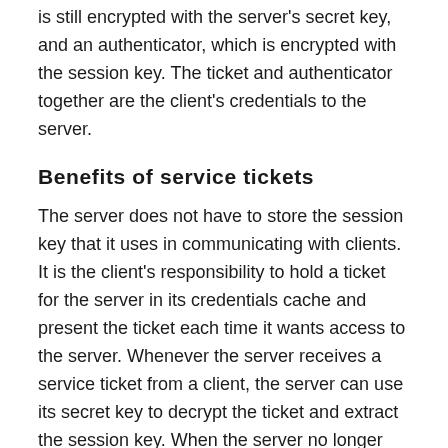is still encrypted with the server's secret key, and an authenticator, which is encrypted with the session key. The ticket and authenticator together are the client's credentials to the server.
Benefits of service tickets
The server does not have to store the session key that it uses in communicating with clients. It is the client's responsibility to hold a ticket for the server in its credentials cache and present the ticket each time it wants access to the server. Whenever the server receives a service ticket from a client, the server can use its secret key to decrypt the ticket and extract the session key. When the server no longer needs the session key, it can discard it.
The client does not need to go back to the KDC each time it wants access to this particular server. Service tickets can be